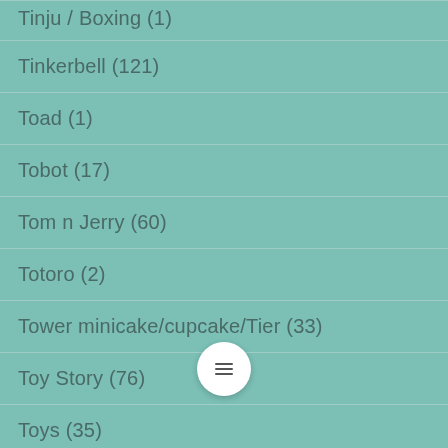Tinju / Boxing (1)
Tinkerbell (121)
Toad (1)
Tobot (17)
Tom n Jerry (60)
Totoro (2)
Tower minicake/cupcake/Tier (33)
Toy Story (76)
Toys (35)